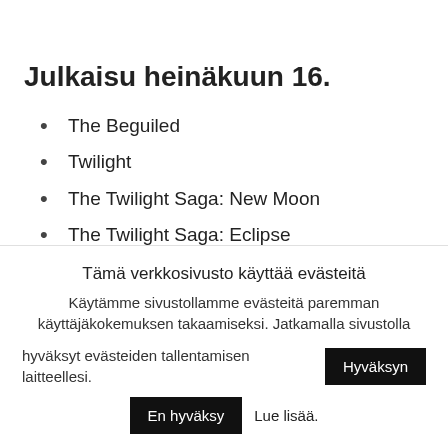Julkaisu heinäkuun 16.
The Beguiled
Twilight
The Twilight Saga: New Moon
The Twilight Saga: Eclipse
The Twilight Saga: Breaking Dawn: Part 1
The Twilight Saga: Breaking Dawn: Part 2
Tämä verkkosivusto käyttää evästeitä
Käytämme sivustollamme evästeitä paremman käyttäjäkokemuksen takaamiseksi. Jatkamalla sivustolla hyväksyt evästeiden tallentamisen laitteellesi.
Hyväksyn
En hyväksy
Lue lisää.